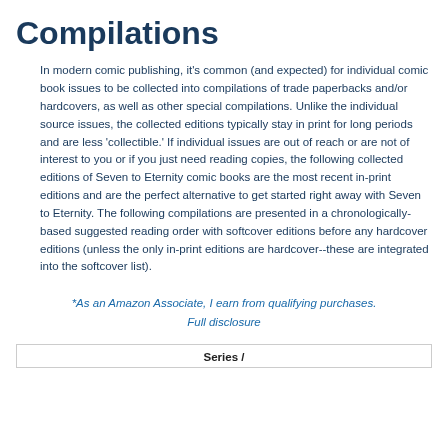Compilations
In modern comic publishing, it's common (and expected) for individual comic book issues to be collected into compilations of trade paperbacks and/or hardcovers, as well as other special compilations. Unlike the individual source issues, the collected editions typically stay in print for long periods and are less 'collectible.' If individual issues are out of reach or are not of interest to you or if you just need reading copies, the following collected editions of Seven to Eternity comic books are the most recent in-print editions and are the perfect alternative to get started right away with Seven to Eternity. The following compilations are presented in a chronologically-based suggested reading order with softcover editions before any hardcover editions (unless the only in-print editions are hardcover--these are integrated into the softcover list).
*As an Amazon Associate, I earn from qualifying purchases. Full disclosure
Series /